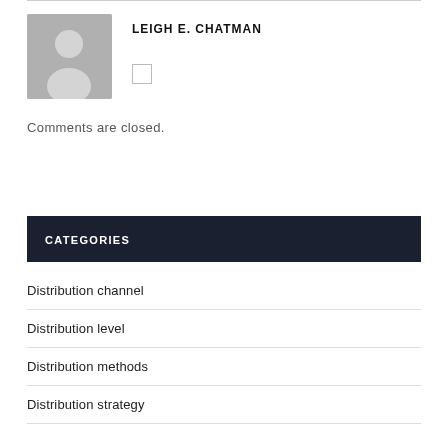[Figure (illustration): Author avatar placeholder with silhouette of a person on grey background]
LEIGH E. CHATMAN
Comments are closed.
CATEGORIES
Distribution channel
Distribution level
Distribution methods
Distribution strategy